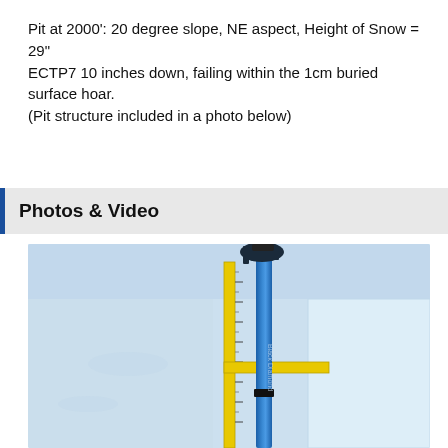Pit at 2000': 20 degree slope, NE aspect, Height of Snow = 29" ECTP7 10 inches down, failing within the 1cm buried surface hoar.
(Pit structure included in a photo below)
Photos & Video
[Figure (photo): Photograph of a snow pit with a blue ski pole and yellow ruler/probe standing upright in the snow, showing snow depth measurement. A yellow horizontal arm extends from the ruler. Snow walls visible on the right side.]